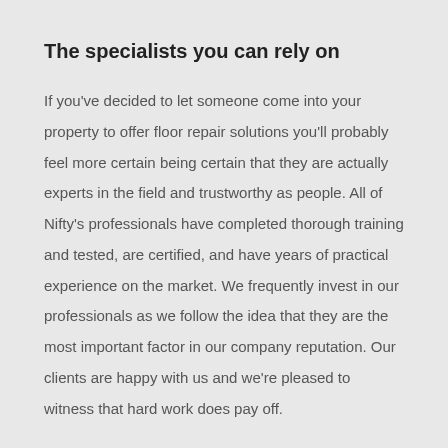The specialists you can rely on
If you've decided to let someone come into your property to offer floor repair solutions you'll probably feel more certain being certain that they are actually experts in the field and trustworthy as people. All of Nifty's professionals have completed thorough training and tested, are certified, and have years of practical experience on the market. We frequently invest in our professionals as we follow the idea that they are the most important factor in our company reputation. Our clients are happy with us and we're pleased to witness that hard work does pay off.